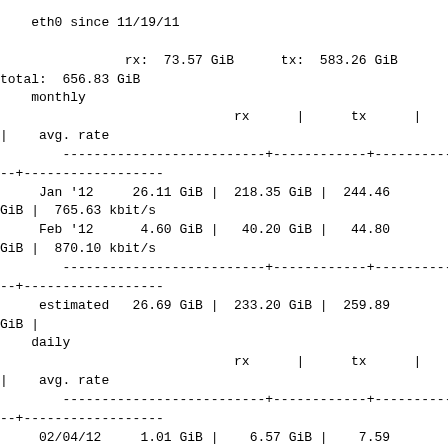eth0 since 11/19/11

            rx:  73.57 GiB      tx:  583.26 GiB
total:  656.83 GiB
monthly
|  | rx | | | tx | | | total | | | avg. rate |
| --- | --- | --- | --- | --- | --- | --- | --- |
| Jan '12 | 26.11 GiB | | | 218.35 GiB | | | 244.46 GiB | | | 765.63 kbit/s |
| Feb '12 | 4.60 GiB | | | 40.20 GiB | | | 44.80 GiB | | | 870.10 kbit/s |
| estimated | 26.69 GiB | | | 233.20 GiB | | | 259.89 GiB | | |  |
daily
|  | rx | | | tx | | | total | | | avg. rate |
| --- | --- | --- | --- | --- | --- | --- | --- |
| 02/04/12 | 1.01 GiB | | | 6.57 GiB | | | 7.59 GiB | | | 736.54 kbit/s |
| 02/05/12 | 807.23 MiB | | | 9.52 GiB | | | 10.31 GiB | | | 1.00 Mbit/s |